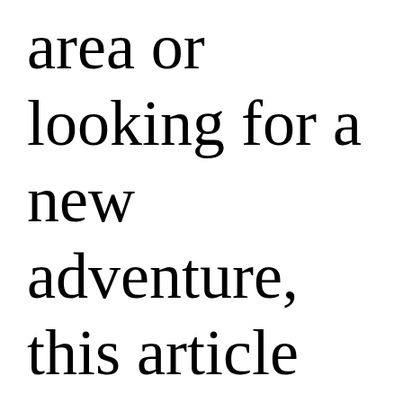area or looking for a new adventure, this article lists a dozen